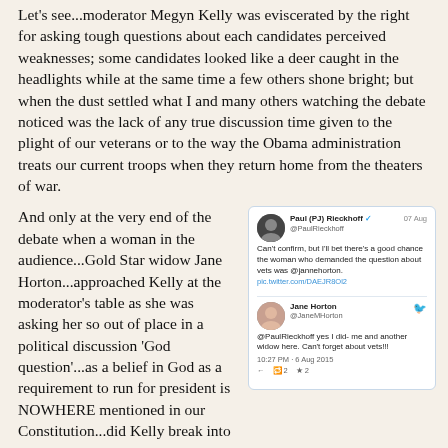Let's see...moderator Megyn Kelly was eviscerated by the right for asking tough questions about each candidates perceived weaknesses; some candidates looked like a deer caught in the headlights while at the same time a few others shone bright; but when the dust settled what I and many others watching the debate noticed was the lack of any true discussion time given to the plight of our veterans or to the way the Obama administration treats our current troops when they return home from the theaters of war.
And only at the very end of the debate when a woman in the audience...Gold Star widow Jane Horton...approached Kelly at the moderator's table as she was asking her so out of place in a political discussion 'God question'...as a belief in God as a requirement to run for president is NOWHERE mentioned in our Constitution...did Kelly break into the candidate's responses to ask about our veterans. So Kelly in the few minutes of air time left changed the 'God question' to 'God and the veterans' and started with That is...
[Figure (screenshot): Screenshot of two tweets: Paul (PJ) Rieckhoff @PaulRieckhoff on 07 Aug: 'Can't confirm, but I'll bet there's a good chance the woman who demanded the question about vets was @jannehorton. pic.twitter.com/DAEJR8Ol2'. Jane Horton @JaneMHorton replies: '@PaulRieckhoff yes I did- me and another widow here. Can't forget about vets!!!' at 10:27 PM - 6 Aug 2015, with 2 retweets and 2 likes.]